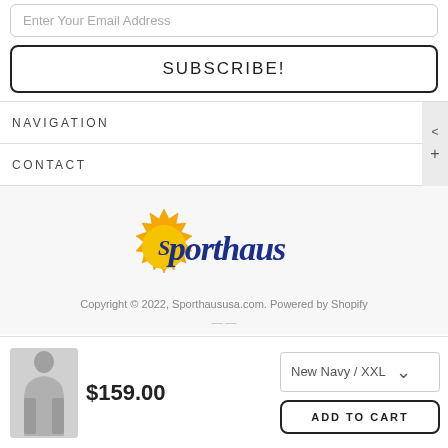Enter Your Email Address
SUBSCRIBE!
NAVIGATION
CONTACT
[Figure (logo): Sporthaus logo with yellow sun burst and dark navy old-english text]
Copyright © 2022, Sporthaususa.com. Powered by Shopify
[Figure (photo): Man wearing grey quarter-zip pullover jacket]
$159.00
New Navy / XXL
ADD TO CART